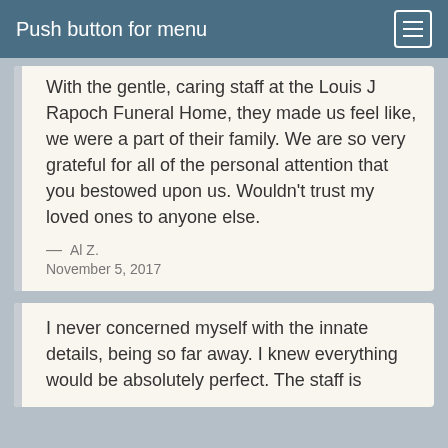Push button for menu
With the gentle, caring staff at the Louis J Rapoch Funeral Home, they made us feel like, we were a part of their family. We are so very grateful for all of the personal attention that you bestowed upon us. Wouldn't trust my loved ones to anyone else.
— Al Z.
November 5, 2017
I never concerned myself with the innate details, being so far away. I knew everything would be absolutely perfect. The staff is